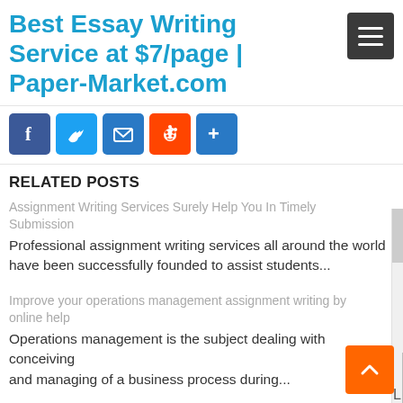Best Essay Writing Service at $7/page | Paper-Market.com
[Figure (screenshot): Social share buttons: Facebook, Twitter, Email, Reddit, More (+)]
RELATED POSTS
Assignment Writing Services Surely Help You In Timely Submission
Professional assignment writing services all around the world have been successfully founded to assist students...
Improve your operations management assignment writing by online help
Operations management is the subject dealing with conceiving and managing of a business process during...